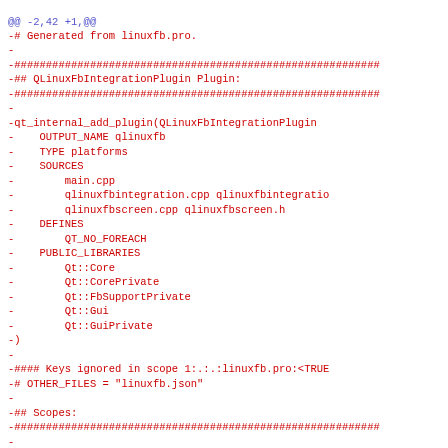@@ -2,42 +1,@@
-# Generated from linuxfb.pro.
-
-##########################################################
-## QLinuxFbIntegrationPlugin Plugin:
-##########################################################
-
-qt_internal_add_plugin(QLinuxFbIntegrationPlugin
-    OUTPUT_NAME qlinuxfb
-    TYPE platforms
-    SOURCES
-        main.cpp
-        qlinuxfbintegration.cpp qlinuxfbintegratio
-        qlinuxfbscreen.cpp qlinuxfbscreen.h
-    DEFINES
-        QT_NO_FOREACH
-    PUBLIC_LIBRARIES
-        Qt::Core
-        Qt::CorePrivate
-        Qt::FbSupportPrivate
-        Qt::Gui
-        Qt::GuiPrivate
-)
-
-#### Keys ignored in scope 1:.:.:linuxfb.pro:<TRUE
-# OTHER_FILES = "linuxfb.json"
-
-## Scopes:
-##########################################################
-
-qt_internal_extend_target(QLinuxFbIntegrationPlug